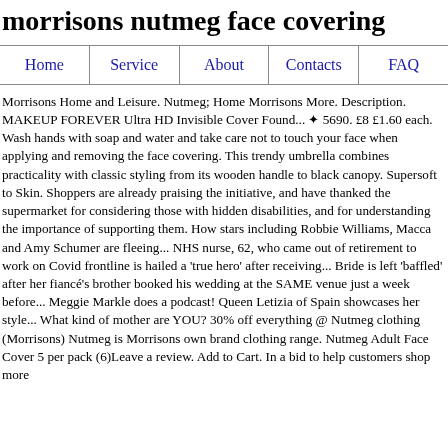morrisons nutmeg face covering
Home | Service | About | Contacts | FAQ
Morrisons Home and Leisure. Nutmeg; Home Morrisons More. Description. MAKEUP FOREVER Ultra HD Invisible Cover Found... ✦ 5690. £8 £1.60 each. Wash hands with soap and water and take care not to touch your face when applying and removing the face covering. This trendy umbrella combines practicality with classic styling from its wooden handle to black canopy. Supersoft to Skin. Shoppers are already praising the initiative, and have thanked the supermarket for considering those with hidden disabilities, and for understanding the importance of supporting them. How stars including Robbie Williams, Macca and Amy Schumer are fleeing... NHS nurse, 62, who came out of retirement to work on Covid frontline is hailed a 'true hero' after receiving... Bride is left 'baffled' after her fiancé's brother booked his wedding at the SAME venue just a week before... Meggie Markle does a podcast! Queen Letizia of Spain showcases her style... What kind of mother are YOU? 30% off everything @ Nutmeg clothing (Morrisons) Nutmeg is Morrisons own brand clothing range. Nutmeg Adult Face Cover 5 per pack (6)Leave a review. Add to Cart. In a bid to help customers shop more